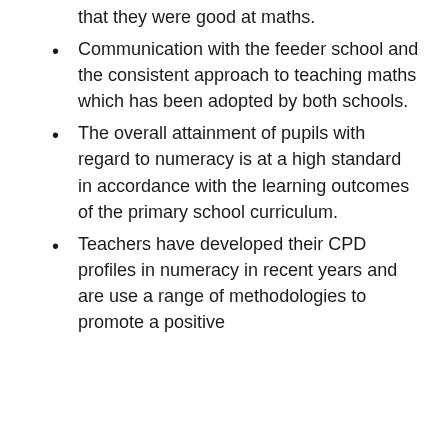that they were good at maths.
Communication with the feeder school and the consistent approach to teaching maths which has been adopted by both schools.
The overall attainment of pupils with regard to numeracy is at a high standard in accordance with the learning outcomes of the primary school curriculum.
Teachers have developed their CPD profiles in numeracy in recent years and are use a range of methodologies to promote a positive